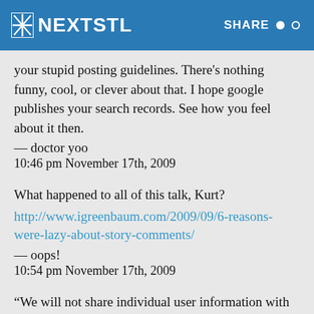NEXTSTL | SHARE
your stupid posting guidelines. There’s nothing funny, cool, or clever about that. I hope google publishes your search records. See how you feel about it then.
— doctor yoo
10:46 pm November 17th, 2009
What happened to all of this talk, Kurt?
http://www.igreenbaum.com/2009/09/6-reasons-were-lazy-about-story-comments/
— oops!
10:54 pm November 17th, 2009
“We will not share individual user information with third parties unless the